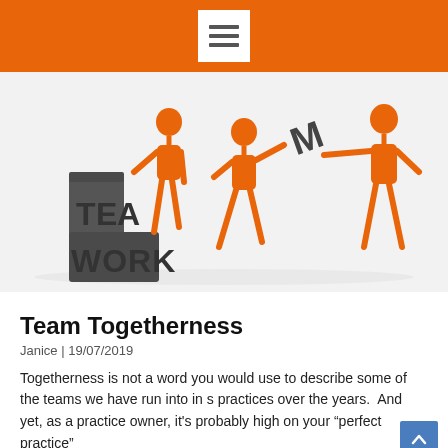Navigation menu icon
[Figure (illustration): Three orange articulated mannequin figures assembling large 3D dark gray letters spelling TEAMWORK — one figure stands beside TEA WORK letters, a second figure passes the letter M, and a third figure reaches out to receive it.]
Team Togetherness
Janice | 19/07/2019
Togetherness is not a word you would use to describe some of the teams we have run into in s practices over the years.  And yet, as a practice owner, it's probably high on your "perfect practice"